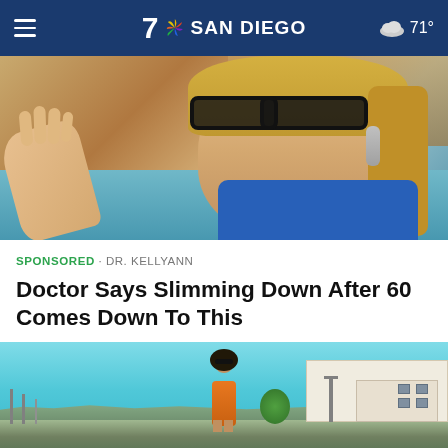7 NBC SAN DIEGO · 71°
[Figure (photo): Blonde woman with large dark-framed glasses and dangling earrings, raising her hand, speaking, indoor setting with brown wooden background]
SPONSORED · DR. KELLYANN
Doctor Says Slimming Down After 60 Comes Down To This
[Figure (photo): Woman in orange outfit with dark curly hair standing outdoors with blue sky, marina with boats, and white buildings in background]